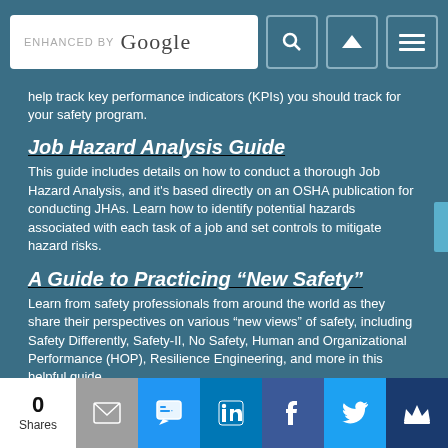ENHANCED BY Google [search icon] [up arrow icon] [menu icon]
help track key performance indicators (KPIs) you should track for your safety program.
Job Hazard Analysis Guide
This guide includes details on how to conduct a thorough Job Hazard Analysis, and it's based directly on an OSHA publication for conducting JHAs. Learn how to identify potential hazards associated with each task of a job and set controls to mitigate hazard risks.
A Guide to Practicing “New Safety”
Learn from safety professionals from around the world as they share their perspectives on various “new views” of safety, including Safety Differently, Safety-II, No Safety, Human and Organizational Performance (HOP), Resilience Engineering, and more in this helpful guide.
Lone Worker Safety Guide
As organizations digitalize and remote operations become more commonplace, the number of lone workers is on the rise. These
0 Shares [mail] [sms] [linkedin] [facebook] [twitter] [crown]